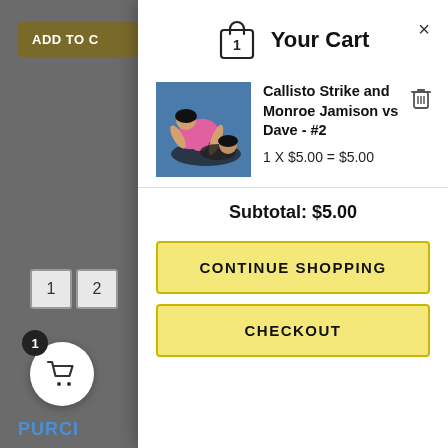[Figure (screenshot): Background webpage with greyed overlay showing partial 'ADD TO CART' button, pagination numbers 1 and 2, partial text 'We h... pho... bodysy... still ne...' and 'PURCI...' in blue.]
Your Cart
[Figure (photo): Product thumbnail showing two wrestlers on a blue mat, one wearing pink.]
Callisto Strike and Monroe Jamison vs Dave - #2
1 X $5.00 = $5.00
Subtotal: $5.00
CONTINUE SHOPPING
CHECKOUT